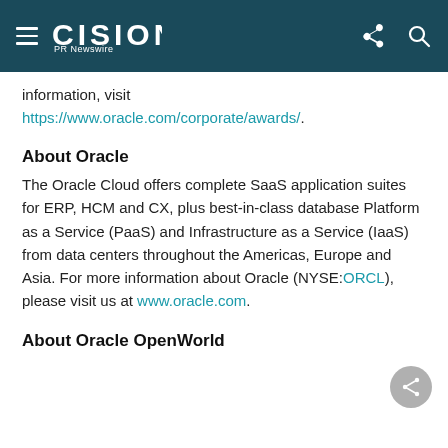CISION PR Newswire
information, visit https://www.oracle.com/corporate/awards/.
About Oracle
The Oracle Cloud offers complete SaaS application suites for ERP, HCM and CX, plus best-in-class database Platform as a Service (PaaS) and Infrastructure as a Service (IaaS) from data centers throughout the Americas, Europe and Asia. For more information about Oracle (NYSE:ORCL), please visit us at www.oracle.com.
About Oracle OpenWorld